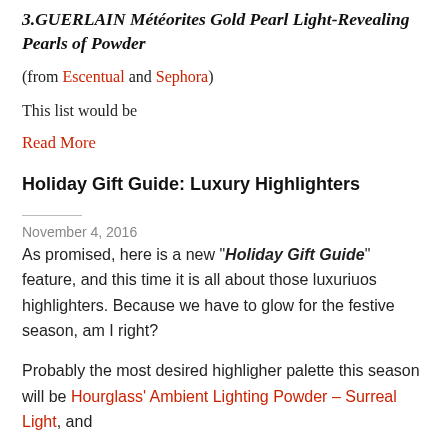3.GUERLAIN Météorites Gold Pearl Light-Revealing Pearls of Powder
(from Escentual and Sephora)
This list would be
Read More
Holiday Gift Guide: Luxury Highlighters
November 4, 2016
As promised, here is a new “Holiday Gift Guide” feature, and this time it is all about those luxuriuos highlighters. Because we have to glow for the festive season, am I right?
Probably the most desired highligher palette this season will be Hourglass’ Ambient Lighting Powder – Surreal Light, and